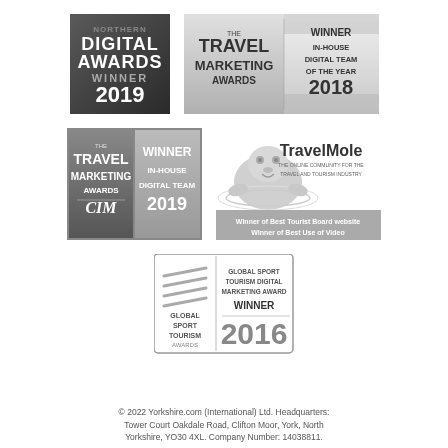[Figure (logo): Digital Awards Winner 2019 badge - dark grey/graphite square badge]
[Figure (logo): The Travel Marketing Awards - Winner In-House Digital Team of the Year 2018 badge]
[Figure (logo): The Travel Marketing Awards CIM - Winner In-House Digital Team 2019 badge]
[Figure (logo): TravelMole - Winner of Best Tourist Board website, Winner of Best Use of Video badge]
[Figure (logo): Global Sport Tourism Awards - Global Sport Tourism Digital Marketing Award Winner 2016 badge]
© 2022 Yorkshire.com (International) Ltd. Headquarters: Tower Court Oakdale Road, Clifton Moor, York, North Yorkshire, YO30 4XL. Company Number: 14038811.